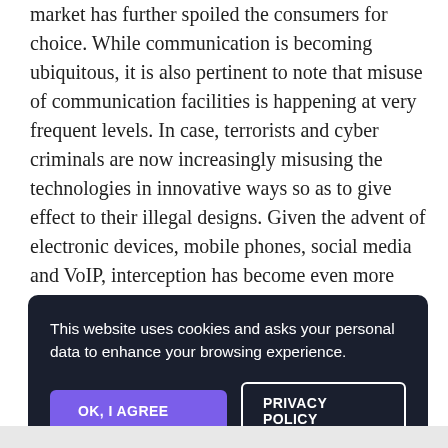market has further spoiled the consumers for choice. While communication is becoming ubiquitous, it is also pertinent to note that misuse of communication facilities is happening at very frequent levels. In case, terrorists and cyber criminals are now increasingly misusing the technologies in innovative ways so as to give effect to their illegal designs. Given the advent of electronic devices, mobile phones, social media and VoIP, interception has become even more relevant.
[Figure (screenshot): Cookie consent dialog overlay on a dark background. Text: 'This website uses cookies and asks your personal data to enhance your browsing experience.' Two buttons: 'OK, I AGREE' (purple) and 'PRIVACY POLICY' (outlined).]